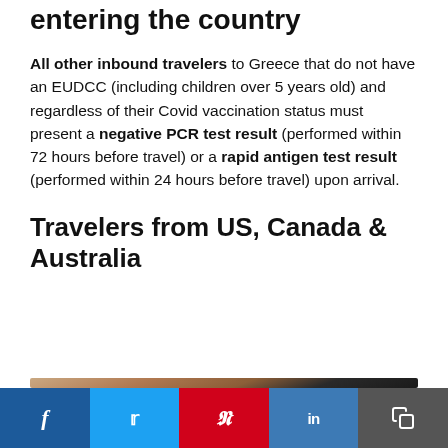entering the country
All other inbound travelers to Greece that do not have an EUDCC (including children over 5 years old) and regardless of their Covid vaccination status must present a negative PCR test result (performed within 72 hours before travel) or a rapid antigen test result (performed within 24 hours before travel) upon arrival.
Travelers from US, Canada & Australia
[Figure (photo): Close-up photo of a dark navy passport with gold embossed text, placed on a wooden surface]
Social sharing bar: Facebook, Twitter, Pinterest, LinkedIn, Copy